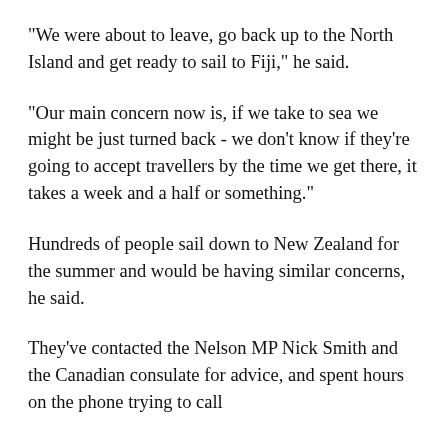"We were about to leave, go back up to the North Island and get ready to sail to Fiji," he said.
"Our main concern now is, if we take to sea we might be just turned back - we don't know if they're going to accept travellers by the time we get there, it takes a week and a half or something."
Hundreds of people sail down to New Zealand for the summer and would be having similar concerns, he said.
They've contacted the Nelson MP Nick Smith and the Canadian consulate for advice, and spent hours on the phone trying to call